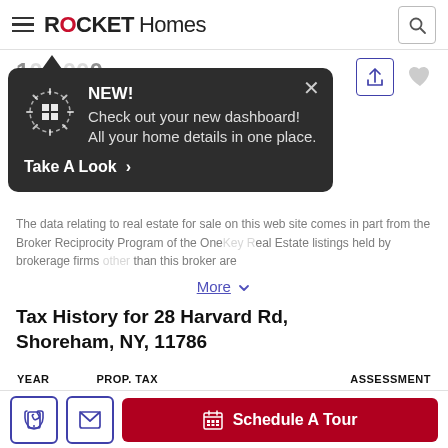ROCKET Homes
[Figure (screenshot): Rocket Homes website screenshot showing a popup notification: 'NEW! Check out your new dashboard! All your home details in one place. Take A Look >' overlaid on a property listing page. Background shows partial price, address, share/heart icons, broker reciprocity disclaimer text, and a 'More' link. Below the popup: 'Tax History for 28 Harvard Rd, Shoreham, NY, 11786' heading and table columns YEAR, PROP. TAX, ASSESSMENT.]
Tax History for 28 Harvard Rd, Shoreham, NY, 11786
| YEAR | PROP. TAX | ASSESSMENT |
| --- | --- | --- |
The data relating to real estate for sale on this web site comes in part from the Broker Reciprocity Program of the OneKey Real Estate listings held by brokerage firms other than this broker are
Schedule A Tour